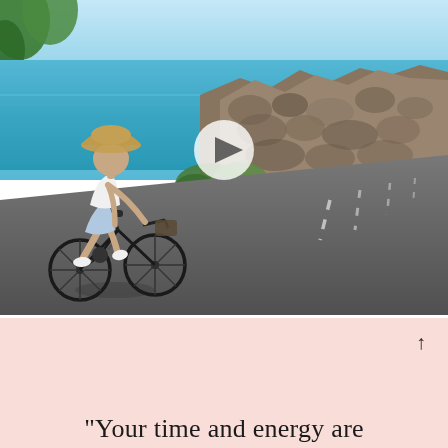[Figure (photo): A woman riding a bicycle along a coastal road. She is wearing a wide-brim sun hat, white tank top, and light blue denim shorts. The road is paved with dashed white edge markings. To the right of the road is a rocky shoreline with boulders and some green vegetation, and behind the rocks is a bright turquoise ocean. The sky is light blue. There is a white circular play button overlay near the center of the image, indicating this is a video thumbnail.]
"Your time and energy are